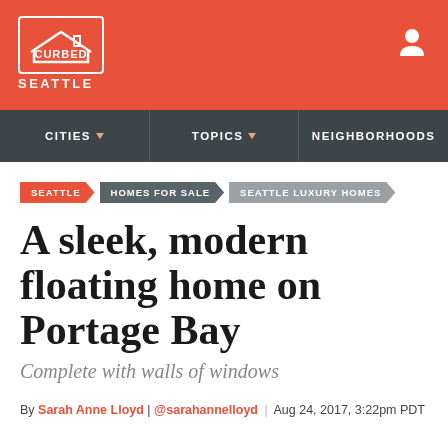CURBED SEATTLE
CITIES | TOPICS | NEIGHBORHOODS
SEATTLE / HOMES FOR SALE / SEATTLE LUXURY HOMES
A sleek, modern floating home on Portage Bay
Complete with walls of windows
By Sarah Anne Lloyd | @sarahannelloyd | Aug 24, 2017, 3:22pm PDT